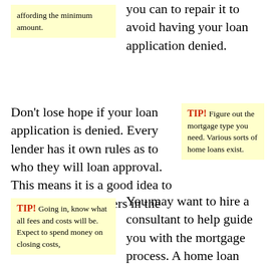affording the minimum amount.
you can to repair it to avoid having your loan application denied.
Don’t lose hope if your loan application is denied. Every lender has it own rules as to who they will loan approval. This means it is a good idea to apply to a few lenders in the first place.
TIP! Figure out the mortgage type you need. Various sorts of home loans exist.
TIP! Going in, know what all fees and costs will be. Expect to spend money on closing costs,
You may want to hire a consultant to help guide you with the mortgage process. A home loan consultant looks after only your best